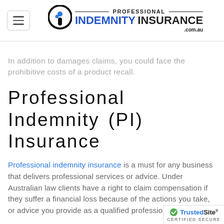[Figure (logo): Professional Indemnity Insurance .com.au logo with hamburger menu icon on the left]
In addition to damages claims, you could face the prohibitive costs of a product recall.
Professional Indemnity (PI) Insurance
Professional indemnity insurance is a must for any business that delivers professional services or advice. Under Australian law clients have a right to claim compensation if they suffer a financial loss because of the actions you take, or advice you provide as a qualified professional.
[Figure (logo): TrustedSite Certified Secure badge in bottom right corner]